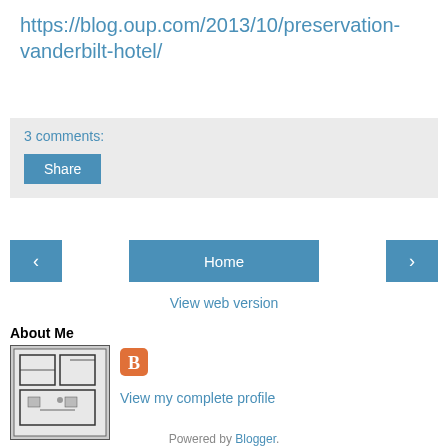https://blog.oup.com/2013/10/preservation-vanderbilt-hotel/
3 comments:
Share
Home
View web version
About Me
[Figure (photo): Small architectural floor plan image used as profile picture]
View my complete profile
Powered by Blogger.